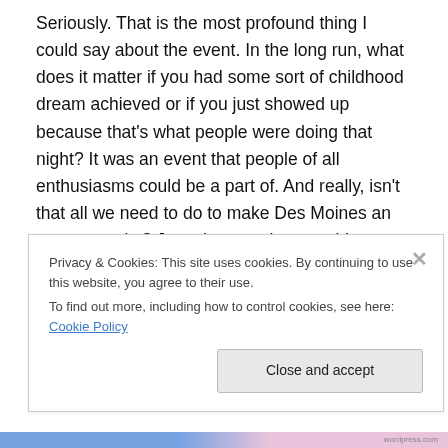Seriously. That is the most profound thing I could say about the event. In the long run, what does it matter if you had some sort of childhood dream achieved or if you just showed up because that's what people were doing that night? It was an event that people of all enthusiasms could be a part of. And really, isn't that all we need to do to make Des Moines an awesome city? Just give people something to do.
Because of 80/35 and so many things like it, there is real momentum for this city and what it can accomplish. It is
Privacy & Cookies: This site uses cookies. By continuing to use this website, you agree to their use.
To find out more, including how to control cookies, see here: Cookie Policy